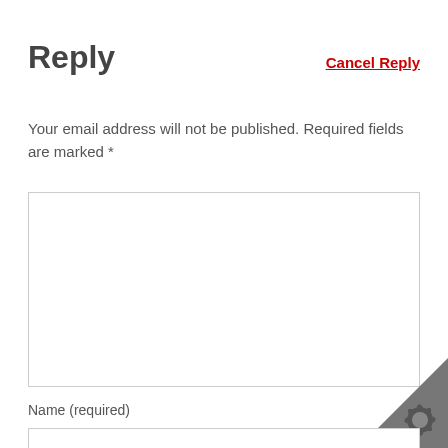Reply
Cancel Reply
Your email address will not be published. Required fields are marked *
[Figure (other): Empty comment textarea input box with light gray border]
Name (required)
[Figure (other): Dark gray triangle corner decoration with gear/settings icon in bottom-right corner]